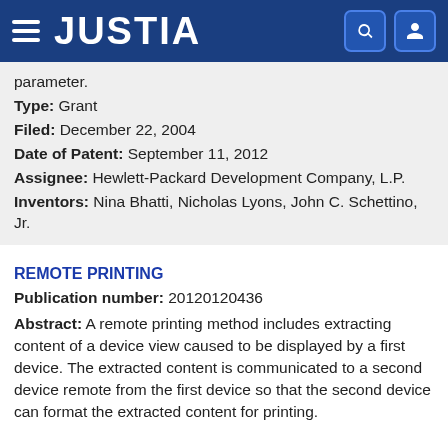JUSTIA
parameter.
Type: Grant
Filed: December 22, 2004
Date of Patent: September 11, 2012
Assignee: Hewlett-Packard Development Company, L.P.
Inventors: Nina Bhatti, Nicholas Lyons, John C. Schettino, Jr.
REMOTE PRINTING
Publication number: 20120120436
Abstract: A remote printing method includes extracting content of a device view caused to be displayed by a first device. The extracted content is communicated to a second device remote from the first device so that the second device can format the extracted content for printing.